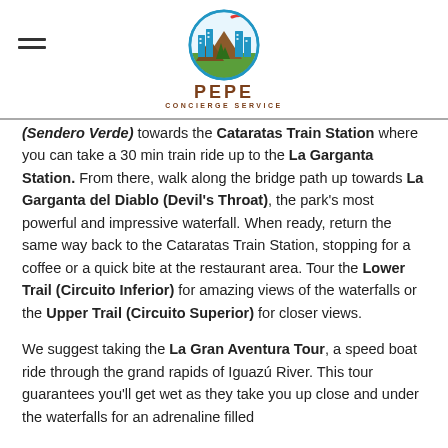[Figure (logo): Pepe Concierge Service logo — circular emblem with city buildings and mountains, blue circle outline, with text PEPE CONCIERGE SERVICE below]
(Sendero Verde) towards the Cataratas Train Station where you can take a 30 min train ride up to the La Garganta Station. From there, walk along the bridge path up towards La Garganta del Diablo (Devil's Throat), the park's most powerful and impressive waterfall. When ready, return the same way back to the Cataratas Train Station, stopping for a coffee or a quick bite at the restaurant area. Tour the Lower Trail (Circuito Inferior) for amazing views of the waterfalls or the Upper Trail (Circuito Superior) for closer views.
We suggest taking the La Gran Aventura Tour, a speed boat ride through the grand rapids of Iguazú River. This tour guarantees you'll get wet as they take you up close and under the waterfalls for an adrenaline filled